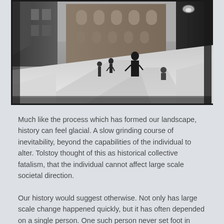[Figure (photo): Black and white historical photograph of a snowy street scene. Several people are walking along a snow-covered road. Large brick buildings are visible in the background, and a street lamp can be seen on the right side.]
Much like the process which has formed our landscape, history can feel glacial. A slow grinding course of inevitability, beyond the capabilities of the individual to alter. Tolstoy thought of this as historical collective fatalism, that the individual cannot affect large scale societal direction.
Our history would suggest otherwise. Not only has large scale change happened quickly, but it has often depended on a single person. One such person never set foot in Newfoundland, never smelled an evergreen